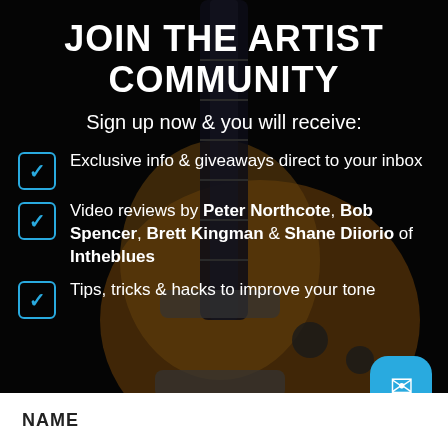JOIN THE ARTIST COMMUNITY
Sign up now & you will receive:
Exclusive info & giveaways direct to your inbox
Video reviews by Peter Northcote, Bob Spencer, Brett Kingman & Shane Diiorio of Intheblues
Tips, tricks & hacks to improve your tone
NAME